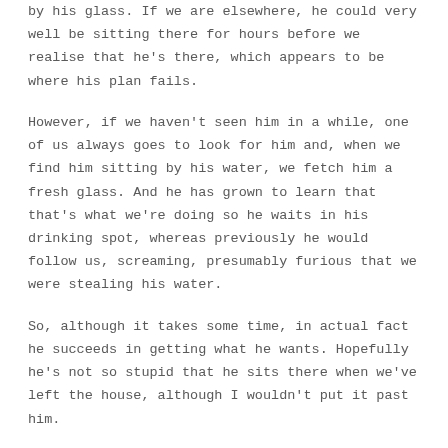by his glass. If we are elsewhere, he could very well be sitting there for hours before we realise that he's there, which appears to be where his plan fails.
However, if we haven't seen him in a while, one of us always goes to look for him and, when we find him sitting by his water, we fetch him a fresh glass. And he has grown to learn that that's what we're doing so he waits in his drinking spot, whereas previously he would follow us, screaming, presumably furious that we were stealing his water.
So, although it takes some time, in actual fact he succeeds in getting what he wants. Hopefully he's not so stupid that he sits there when we've left the house, although I wouldn't put it past him.